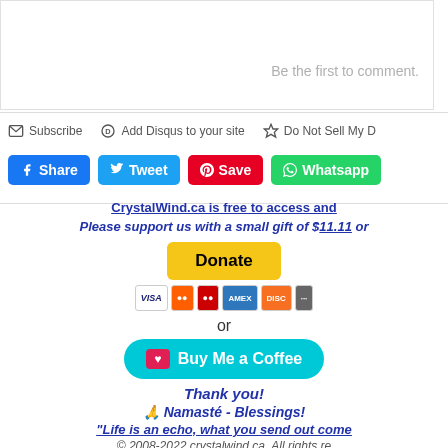Be the first to comment.
Subscribe   Add Disqus to your site   Do Not Sell My D
Share  Tweet  Save  Whatsapp
CrystalWind.ca is free to access and
Please support us with a small gift of $11.11 or
Donate
or
Buy Me a Coffee
Thank you!
🙏 Namasté - Blessings!
"Life is an echo, what you send out come
© 2008-2022 crystalwind.ca. All rights re